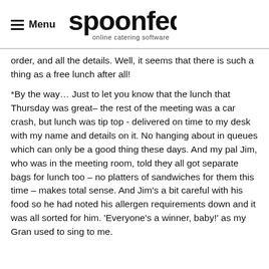Menu | spoonfed online catering software
order, and all the details. Well, it seems that there is such a thing as a free lunch after all!
*By the way… Just to let you know that the lunch that Thursday was great– the rest of the meeting was a car crash, but lunch was tip top - delivered on time to my desk with my name and details on it. No hanging about in queues which can only be a good thing these days. And my pal Jim, who was in the meeting room, told they all got separate bags for lunch too – no platters of sandwiches for them this time – makes total sense. And Jim's a bit careful with his food so he had noted his allergen requirements down and it was all sorted for him. 'Everyone's a winner, baby!' as my Gran used to sing to me.